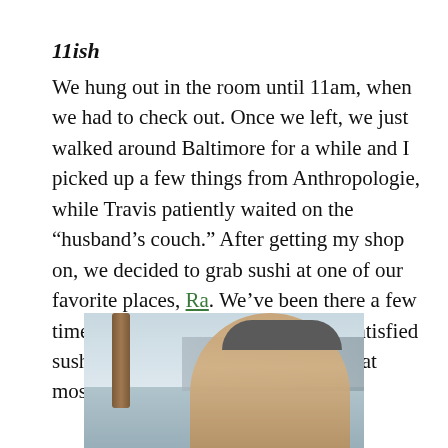11ish
We hung out in the room until 11am, when we had to check out. Once we left, we just walked around Baltimore for a while and I picked up a few things from Anthropologie, while Travis patiently waited on the “husband’s couch.” After getting my shop on, we decided to grab sushi at one of our favorite places, Ra. We’ve been there a few times and every time we leave in a satisfied sushi coma. Hmm… I realize now that most of our date has been eating…
[Figure (photo): A photo of a person outdoors near a harbor or waterfront, with buildings visible in the background and a wooden post on the left side.]